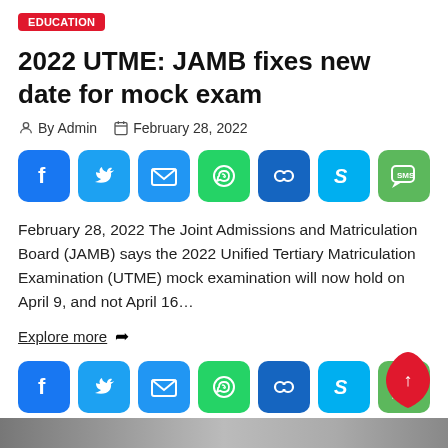EDUCATION
2022 UTME: JAMB fixes new date for mock exam
By Admin  February 28, 2022
[Figure (infographic): Social share buttons row: Facebook, Twitter, Email, WhatsApp, Copy Link, Skype, SMS]
February 28, 2022 The Joint Admissions and Matriculation Board (JAMB) says the 2022 Unified Tertiary Matriculation Examination (UTME) mock examination will now hold on April 9, and not April 16...
Explore more
[Figure (infographic): Social share buttons row: Facebook, Twitter, Email, WhatsApp, Copy Link, Skype, SMS]
[Figure (photo): Bottom image strip partially visible]